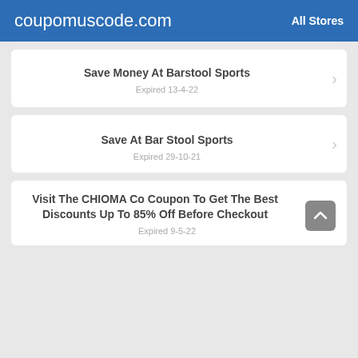coupomuscode.com  All Stores
Save Money At Barstool Sports
Expired 13-4-22
Save At Bar Stool Sports
Expired 29-10-21
Visit The CHIOMA Co Coupon To Get The Best Discounts Up To 85% Off Before Checkout
Expired 9-5-22